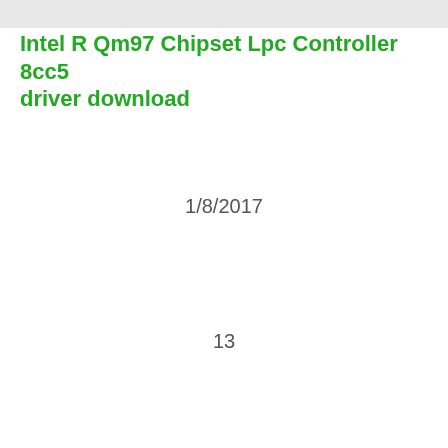Intel R Qm97 Chipset Lpc Controller 8cc5 driver download
1/8/2017
13
Available
612
7